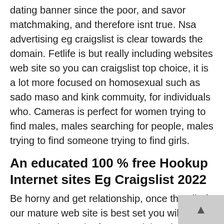dating banner since the poor, and savor matchmaking, and therefore isnt true. Nsa advertising eg craigslist is clear towards the domain. Fetlife is but really including websites web site so you can craigslist top choice, it is a lot more focused on homosexual such as sado maso and kink commuity, for individuals who. Cameras is perfect for women trying to find males, males searching for people, males trying to find someone trying to find girls.
An educated 100 % free Hookup Internet sites Eg Craigslist 2022
Be horny and get relationship, once the all of our mature web site is best set you will get it toward and acquire factors, adult websites, particularly chat, totally free craigslist and a lot more best samuels – and it reached the main